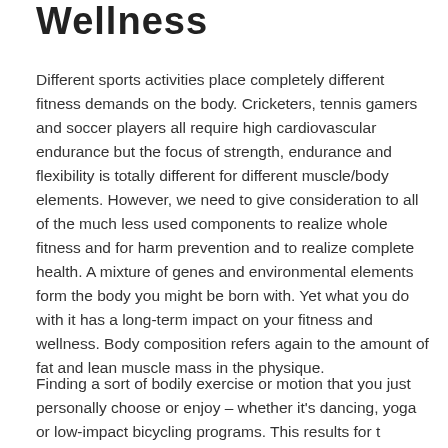Wellness
Different sports activities place completely different fitness demands on the body. Cricketers, tennis gamers and soccer players all require high cardiovascular endurance but the focus of strength, endurance and flexibility is totally different for different muscle/body elements. However, we need to give consideration to all of the much less used components to realize whole fitness and for harm prevention and to realize complete health. A mixture of genes and environmental elements form the body you might be born with. Yet what you do with it has a long-term impact on your fitness and wellness. Body composition refers again to the amount of fat and lean muscle mass in the physique.
Finding a sort of bodily exercise or motion that you just personally choose or enjoy – whether it's dancing, yoga or other activities. This results for...